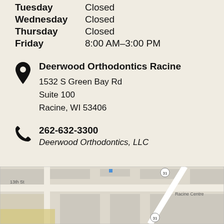Tuesday  Closed
Wednesday  Closed
Thursday  Closed
Friday  8:00 AM–3:00 PM
Deerwood Orthodontics Racine
1532 S Green Bay Rd
Suite 100
Racine, WI 53406
262-632-3300
Deerwood Orthodontics, LLC
[Figure (map): Street map showing area around 1532 S Green Bay Rd, Racine, WI 53406. Shows 13th St and Racine Centre labels, route 31 circle markers, a white diagonal road, and city block grid.]